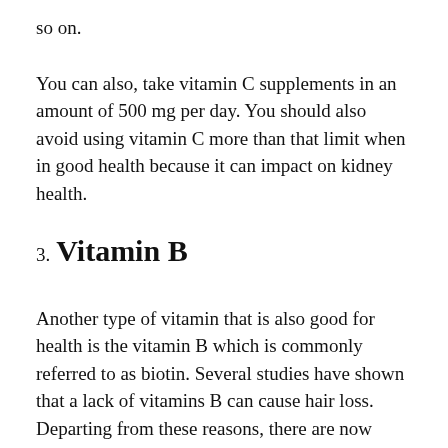so on.
You can also, take vitamin C supplements in an amount of 500 mg per day. You should also avoid using vitamin C more than that limit when in good health because it can impact on kidney health.
3. Vitamin B
Another type of vitamin that is also good for health is the vitamin B which is commonly referred to as biotin. Several studies have shown that a lack of vitamins B can cause hair loss. Departing from these reasons, there are now many treatments that use vitamins B in the treatment of hair loss.
There are many types of foods that contain vitamin B complexes, such as nuts and seeds. You can take